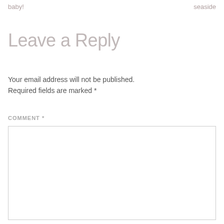baby!  seaside
Leave a Reply
Your email address will not be published. Required fields are marked *
COMMENT *
[Figure (other): Empty comment text area input box]